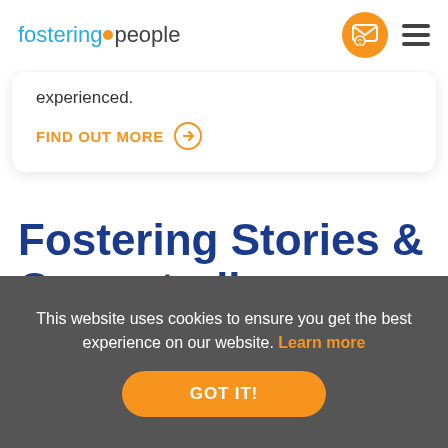fosteringpeople
experienced.
FIND OUT MORE →
Fostering Stories & Case studies
This website uses cookies to ensure you get the best experience on our website. Learn more
GOT IT!